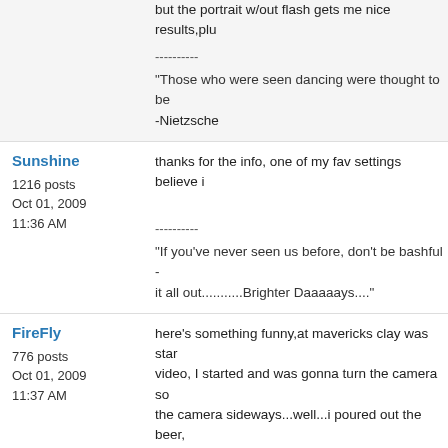but the portrait w/out flash gets me nice results,plu
----------
"Those who were seen dancing were thought to be
-Nietzsche
Sunshine
1216 posts
Oct 01, 2009
11:36 AM
thanks for the info, one of my fav settings believe i
----------
"If you've never seen us before, don't be bashful -
it all out...........Brighter Daaaaays...."
FireFly
776 posts
Oct 01, 2009
11:37 AM
here's something funny,at mavericks clay was star
video, I started and was gonna turn the camera so
the camera sideways...well...i poured out the beer,
laughed..I put the camera away and decided to be
----------
"Those who were seen dancing were thought to be
-Nietzsche
FireFly
oh I believe it, you just gotta experiment around